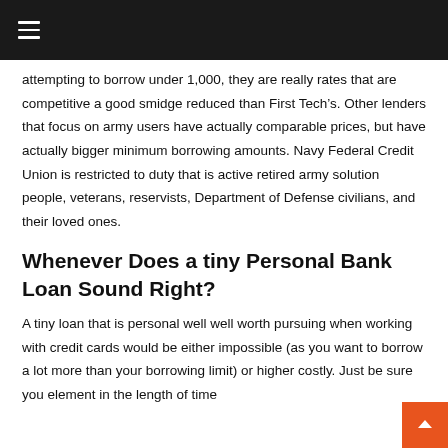≡
attempting to borrow under 1,000, they are really rates that are competitive a good smidge reduced than First Tech's. Other lenders that focus on army users have actually comparable prices, but have actually bigger minimum borrowing amounts. Navy Federal Credit Union is restricted to duty that is active retired army solution people, veterans, reservists, Department of Defense civilians, and their loved ones.
Whenever Does a tiny Personal Bank Loan Sound Right?
A tiny loan that is personal well well worth pursuing when working with credit cards would be either impossible (as you want to borrow a lot more than your borrowing limit) or higher costly. Just be sure you element in the length of time your ability to create the monthly premiums comfortably.